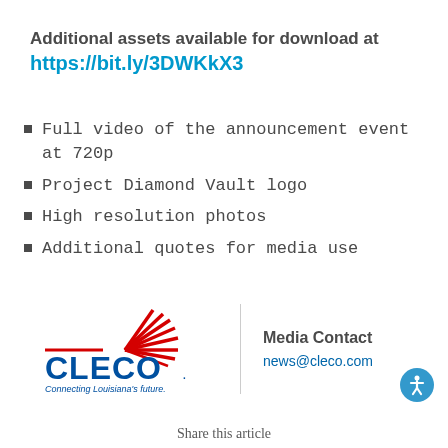Additional assets available for download at https://bit.ly/3DWKkX3
Full video of the announcement event at 720p
Project Diamond Vault logo
High resolution photos
Additional quotes for media use
[Figure (logo): Cleco logo with red sunburst, blue CLECO text, and tagline 'Connecting Louisiana's future.']
Media Contact
news@cleco.com
Share this article